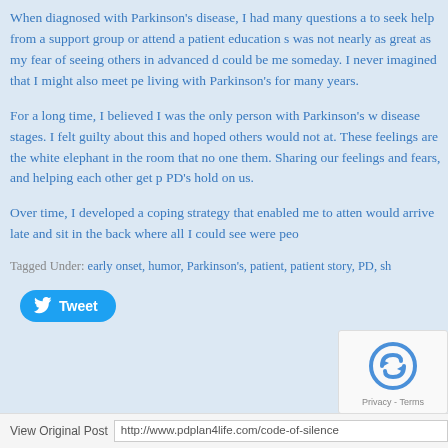When diagnosed with Parkinson's disease, I had many questions a to seek help from a support group or attend a patient education s was not nearly as great as my fear of seeing others in advanced d could be me someday. I never imagined that I might also meet pe living with Parkinson's for many years.
For a long time, I believed I was the only person with Parkinson's w disease stages. I felt guilty about this and hoped others would not at. These feelings are the white elephant in the room that no one them. Sharing our feelings and fears, and helping each other get p PD's hold on us.
Over time, I developed a coping strategy that enabled me to atten would arrive late and sit in the back where all I could see were peo
Tagged Under: early onset, humor, Parkinson's, patient, patient story, PD, sh
[Figure (screenshot): Tweet button with Twitter bird icon]
[Figure (screenshot): reCAPTCHA logo box with Privacy - Terms text]
View Original Post   http://www.pdplan4life.com/code-of-silence